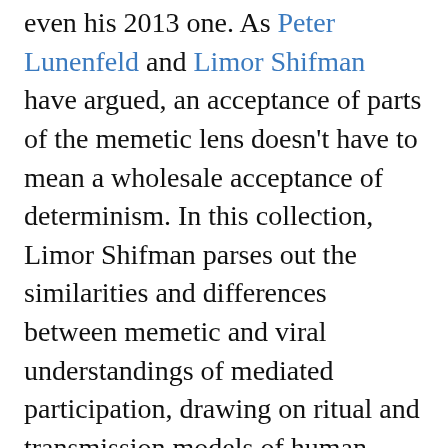Dawkins' 1976 conceptualization, or even his 2013 one. As Peter Lunenfeld and Limor Shifman have argued, an acceptance of parts of the memetic lens doesn't have to mean a wholesale acceptance of determinism. In this collection, Limor Shifman parses out the similarities and differences between memetic and viral understandings of mediated participation, drawing on ritual and transmission models of human communication. As her work—and the work of Karine Nahon and Jeff Hemsley—evidences, both memes and viral media depend on similar collective processes.